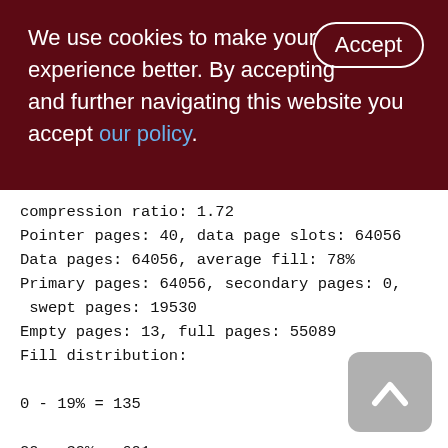We use cookies to make your experience better. By accepting and further navigating this website you accept our policy.
compression ratio: 1.72
Pointer pages: 40, data page slots: 64056
Data pages: 64056, average fill: 78%
Primary pages: 64056, secondary pages: 0, swept pages: 19530
Empty pages: 13, full pages: 55089
Fill distribution:
0 - 19% = 135
20 - 39% = 601
40 - 59% = 2650
60 - 79% = 27253
80 - 99% = 33417